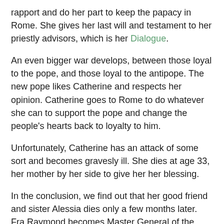rapport and do her part to keep the papacy in Rome. She gives her last will and testament to her priestly advisors, which is her Dialogue.
An even bigger war develops, between those loyal to the pope, and those loyal to the antipope. The new pope likes Catherine and respects her opinion. Catherine goes to Rome to do whatever she can to support the pope and change the people's hearts back to loyalty to him.
Unfortunately, Catherine has an attack of some sort and becomes gravesly ill. She dies at age 33, her mother by her side to give her her blessing.
In the conclusion, we find out that her good friend and sister Alessia dies only a few months later. Fra Raymond becomes Master General of the Dominican Order, and wrote the very first Life of St. Catherine of Siena. Pope Urban VI holds the papacy for 9 years before he dies, but never becomes well liked amongst the people of Rome. The schism continues for 35 years, but the papacy never left Rome again.
Wow, I mean, WOW! What a story! I learned so much from